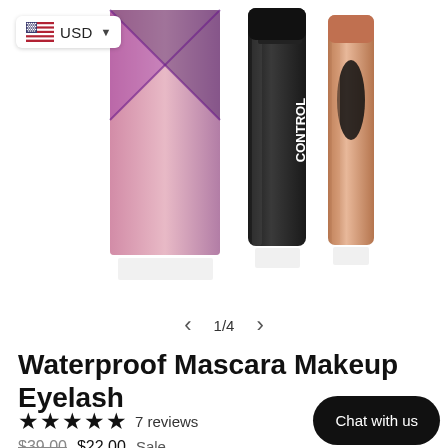[Figure (photo): E-commerce product listing screenshot showing mascara products (a pink/purple box, a black mascara tube, and a rose gold mascara tube) on white background with USD currency selector badge in top left]
1/4
Waterproof Mascara Makeup Eyelash
★★★★★ 7 reviews
$39.00  $22.00  Sale
Chat with us